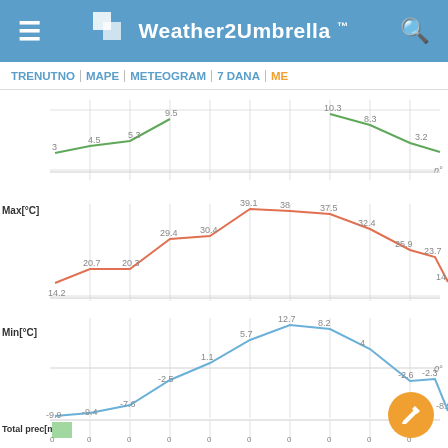Weather2Umbrella™
TRENUTNO | MAPE | METEOGRAM | 7 DANA | ME...
[Figure (line-chart): Green line chart showing values: 3, 4.5, 5.3, 9.5, then 10.3, 8.3, 3.2 with n° label on right]
[Figure (line-chart): Orange/red line chart for Max temperature in °C]
[Figure (line-chart): Blue line chart for Min temperature in °C with 0° reference line]
[Figure (bar-chart): Green bar chart for total precipitation in mm]